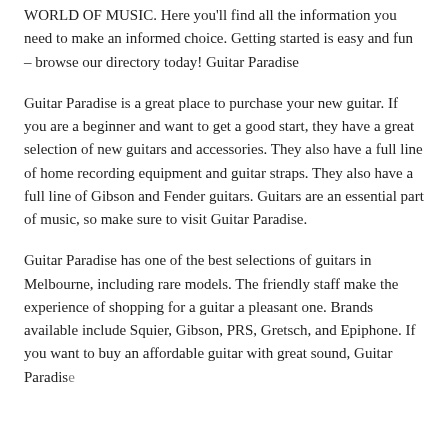WORLD OF MUSIC. Here you'll find all the information you need to make an informed choice. Getting started is easy and fun – browse our directory today! Guitar Paradise
Guitar Paradise is a great place to purchase your new guitar. If you are a beginner and want to get a good start, they have a great selection of new guitars and accessories. They also have a full line of home recording equipment and guitar straps. They also have a full line of Gibson and Fender guitars. Guitars are an essential part of music, so make sure to visit Guitar Paradise.
Guitar Paradise has one of the best selections of guitars in Melbourne, including rare models. The friendly staff make the experience of shopping for a guitar a pleasant one. Brands available include Squier, Gibson, PRS, Gretsch, and Epiphone. If you want to buy an affordable guitar with great sound, Guitar Paradise...